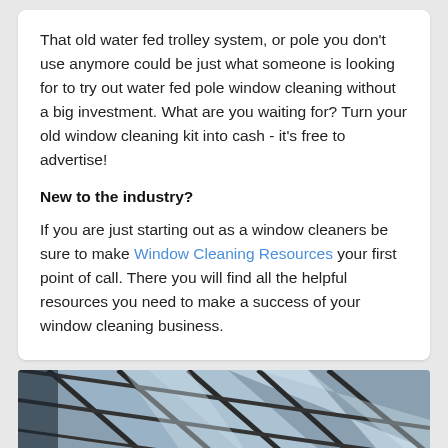That old water fed trolley system, or pole you don't use anymore could be just what someone is looking for to try out water fed pole window cleaning without a big investment. What are you waiting for? Turn your old window cleaning kit into cash - it's free to advertise!
New to the industry?
If you are just starting out as a window cleaners be sure to make Window Cleaning Resources your first point of call. There you will find all the helpful resources you need to make a success of your window cleaning business.
[Figure (photo): Photo of a glass building facade with reflections, overlaid with text 'www.windowcleaningresources.co.uk' and 'All that you need to succeed']